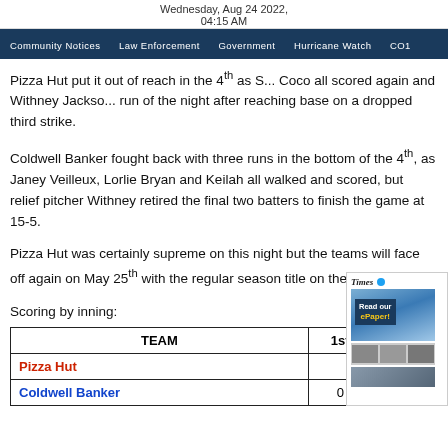Wednesday, Aug 24 2022, 04:15 AM
Community Notices  Law Enforcement  Government  Hurricane Watch  CO1
Pizza Hut put it out of reach in the 4th as S... Coco all scored again and Withney Jackso... run of the night after reaching base on a dropped third strike.
Coldwell Banker fought back with three runs in the bottom of the 4th, as Janey Veilleux, Lorlie Bryan and Keilah all walked and scored, but relief pitcher Withney retired the final two batters to finish the game at 15-5.
Pizza Hut was certainly supreme on this night but the teams will face off again on May 25th with the regular season title on the line.
Scoring by inning:
| TEAM | 1st |
| --- | --- |
| Pizza Hut |  |
| Coldwell Banker | 0 |